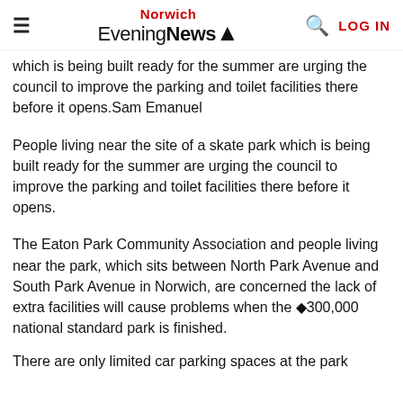Norwich Evening News - LOG IN
which is being built ready for the summer are urging the council to improve the parking and toilet facilities there before it opens.Sam Emanuel
People living near the site of a skate park which is being built ready for the summer are urging the council to improve the parking and toilet facilities there before it opens.
The Eaton Park Community Association and people living near the park, which sits between North Park Avenue and South Park Avenue in Norwich, are concerned the lack of extra facilities will cause problems when the ◆300,000 national standard park is finished.
There are only limited car parking spaces at the park